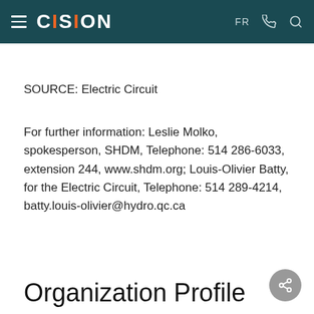CISION | FR
SOURCE: Electric Circuit
For further information: Leslie Molko, spokesperson, SHDM, Telephone: 514 286-6033, extension 244, www.shdm.org; Louis-Olivier Batty, for the Electric Circuit, Telephone: 514 289-4214, batty.louis-olivier@hydro.qc.ca
Organization Profile